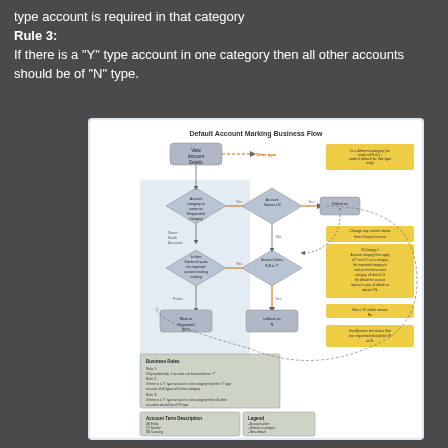type account is required in that category
Rule 3:
If there is a "Y" type account in one category then all other accounts should be of "N" type.
[Figure (flowchart): Default Account Marking Business Flow - a flowchart showing decision logic for marking accounts as default or requested, with diamond decision nodes, rectangular process boxes, and annotation notes. Includes Business Rules and Account Term Description legend at the bottom.]